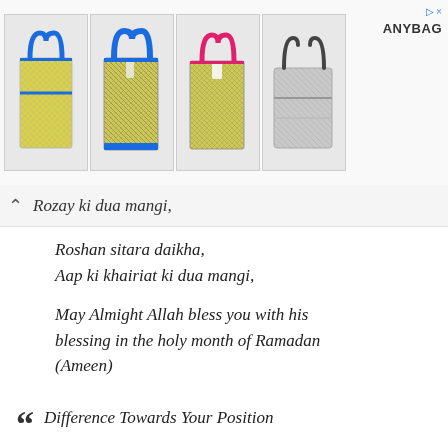[Figure (photo): Advertisement banner showing four colorful shopping/tote bags with handles in blue, blue, pink/magenta, and silver/grey colors. Brand name ANYBAG shown at right with an ad arrow icon.]
Kozay ki dua mangi,
Roshan sitara daikha,
Aap ki khairiat ki dua mangi,
May Almight Allah bless you with his blessing in the holy month of Ramadan (Ameen)
One Ramadan will create Such A
Difference Towards Your Position